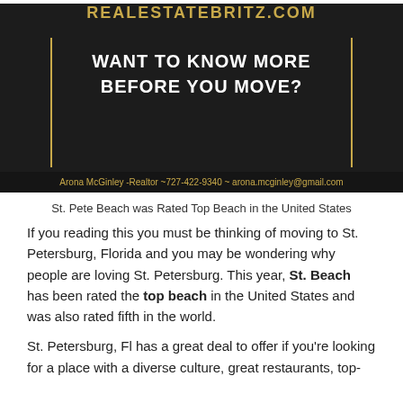[Figure (infographic): Dark background advertisement with gold/yellow text reading REALESTATEBRITZ.COM at top, two vertical gold lines flanking center, white bold text WANT TO KNOW MORE BEFORE YOU MOVE?, and contact info at bottom: Arona McGinley -Realtor ~727-422-9340 ~ arona.mcginley@gmail.com]
St. Pete Beach was Rated Top Beach in the United States
If you reading this you must be thinking of moving to St. Petersburg, Florida and you may be wondering why people are loving St. Petersburg. This year, St. Beach has been rated the top beach in the United States and was also rated fifth in the world.
St. Petersburg, Fl has a great deal to offer if you're looking for a place with a diverse culture, great restaurants, top-